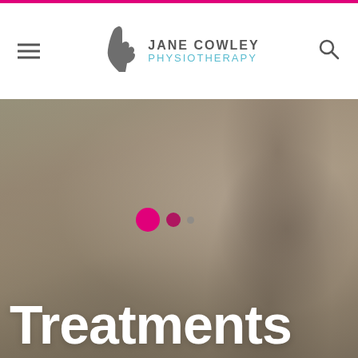Jane Cowley Physiotherapy — navigation header with hamburger menu, logo, and search icon
[Figure (photo): Hero image of a smiling woman in a black athletic long-sleeve shirt with her arms raised above her head adjusting her hair, photographed outdoors with a blurred background. Three carousel indicator dots (large pink, medium pink, small grey) are overlaid on the image.]
Treatments